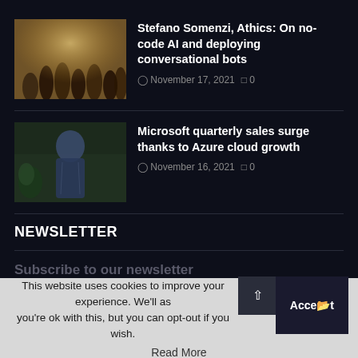[Figure (photo): Crowd of people in an urban setting, warm lighting]
Stefano Somenzi, Athics: On no-code AI and deploying conversational bots
November 17, 2021  0
[Figure (photo): Person wearing denim jacket seen from behind, indoor setting]
Microsoft quarterly sales surge thanks to Azure cloud growth
November 16, 2021  0
NEWSLETTER
Subscribe to our newsletter
Enter specific and clear language on the intended use of the collected information.
This website uses cookies to improve your experience. We'll as you're ok with this, but you can opt-out if you wish.
Read More